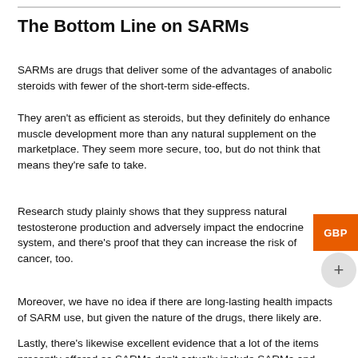The Bottom Line on SARMs
SARMs are drugs that deliver some of the advantages of anabolic steroids with fewer of the short-term side-effects.
They aren't as efficient as steroids, but they definitely do enhance muscle development more than any natural supplement on the marketplace. They seem more secure, too, but do not think that means they're safe to take.
Research study plainly shows that they suppress natural testosterone production and adversely impact the endocrine system, and there's proof that they can increase the risk of cancer, too.
Moreover, we have no idea if there are long-lasting health impacts of SARM use, but given the nature of the drugs, there likely are.
Lastly, there's likewise excellent evidence that a lot of the items presently offered as SARMs don't actually include SARMs and might also contain other fillers and lots of dangerous ingredients.